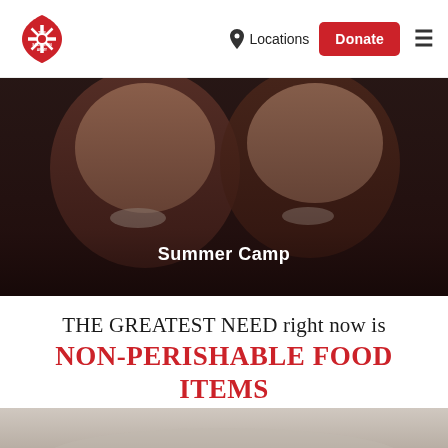[Figure (logo): The Salvation Army red shield logo]
Locations
Donate
[Figure (photo): Close-up of two smiling children faces in dark toned photo]
Summer Camp
The Greatest Need right now is
NON-PERISHABLE FOOD ITEMS
MEET THE NEED
[Figure (photo): Bottom portion of a gray outdoor photo, partially visible]